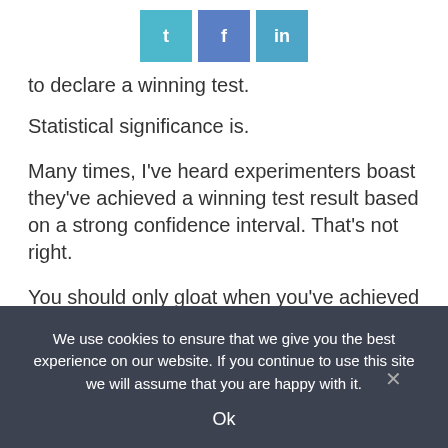[Figure (other): Social share buttons: Twitter (t), Facebook (f), LinkedIn (in)]
to declare a winning test.
Statistical significance is.
Many times, I've heard experimenters boast they've achieved a winning test result based on a strong confidence interval. That's not right.
You should only gloat when you've achieved a statistically significant win.
We use cookies to ensure that we give you the best experience on our website. If you continue to use this site we will assume that you are happy with it.
Ok